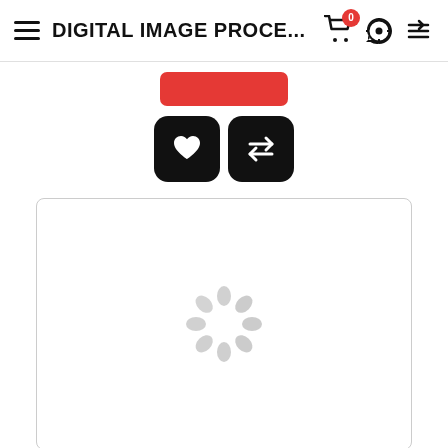≡ DIGITAL IMAGE PROCE... 🛒 0 ⚙
[Figure (screenshot): Red add-to-cart button (partially visible at top), two black icon buttons (heart/wishlist and compare arrows), and a white bordered preview box with a loading spinner (grey dots arranged in circle)]